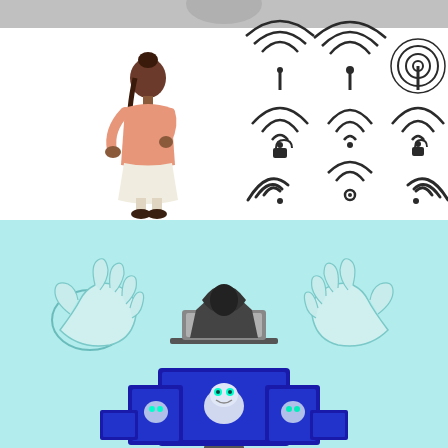[Figure (illustration): Top section with a gray header bar, a Black woman in a pink top and white skirt standing on the left, and a 3x3 grid of wifi/signal icons on the right (antenna transmitter icons top row, locked wifi icons middle row, partial wifi arc icons bottom row)]
[Figure (illustration): Bottom section with light aqua/teal background showing a hacker in a hoodie at a laptop in the center, two grasping cartoon hands on either side, and multiple devices (monitor, tablets, laptops) below displaying a robot/AI character]